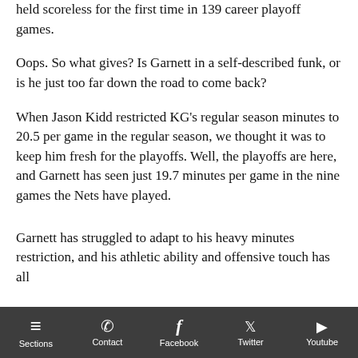held scoreless for the first time in 139 career playoff games.
Oops. So what gives? Is Garnett in a self-described funk, or is he just too far down the road to come back?
When Jason Kidd restricted KG's regular season minutes to 20.5 per game in the regular season, we thought it was to keep him fresh for the playoffs. Well, the playoffs are here, and Garnett has seen just 19.7 minutes per game in the nine games the Nets have played.
Garnett has struggled to adapt to his heavy minutes restriction, and his athletic ability and offensive touch has all
Sections  Contact  Facebook  Twitter  Youtube